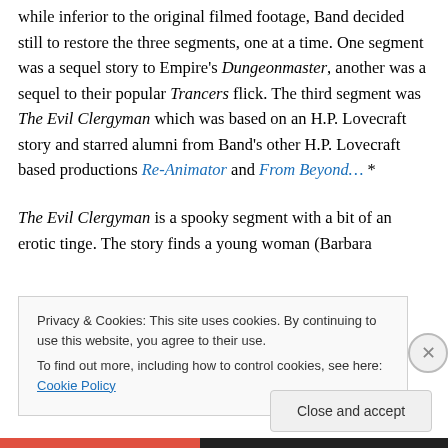2011 a VHS work print of the film was discovered and while inferior to the original filmed footage, Band decided still to restore the three segments, one at a time. One segment was a sequel story to Empire's Dungeonmaster, another was a sequel to their popular Trancers flick. The third segment was The Evil Clergyman which was based on an H.P. Lovecraft story and starred alumni from Band's other H.P. Lovecraft based productions Re-Animator and From Beyond… *
The Evil Clergyman is a spooky segment with a bit of an erotic tinge. The story finds a young woman (Barbara
Privacy & Cookies: This site uses cookies. By continuing to use this website, you agree to their use.
To find out more, including how to control cookies, see here: Cookie Policy